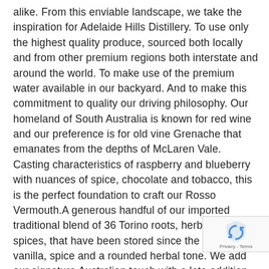alike. From this enviable landscape, we take the inspiration for Adelaide Hills Distillery. To use only the highest quality produce, sourced both locally and from other premium regions both interstate and around the world. To make use of the premium water available in our backyard. And to make this commitment to quality our driving philosophy. Our homeland of South Australia is known for red wine and our preference is for old vine Grenache that emanates from the depths of McLaren Vale. Casting characteristics of raspberry and blueberry with nuances of spice, chocolate and tobacco, this is the perfect foundation to craft our Rosso Vermouth.A generous handful of our imported traditional blend of 36 Torino roots, herbs and spices, that have been stored since the 1960s, add vanilla, spice and a rounded herbal tone. We add our signature Australian touch with a late addition of anise myrtle and quandong, then utilise the citrus characteristics of sunrise lime and finger lime to cut through the unctuous nature of the Grenache.
[Figure (logo): Google reCAPTCHA badge with shield icon and Privacy - Terms text]